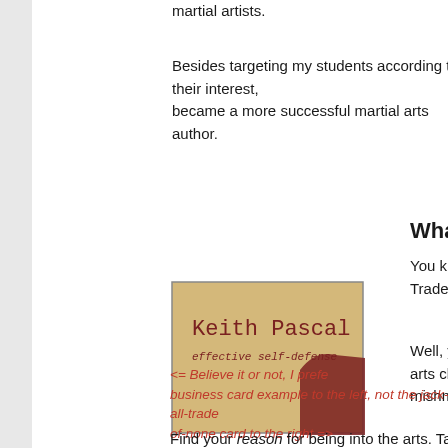martial artists.
Besides targeting my students according to their interest, became a more successful martial arts author.
What's Your Focus'
[Figure (illustration): Keith Pascal effective self-defense business card logo with tan background and dark red silhouette]
You know the saying Jack Trades, Master of None?
Well, you don't want your arts classes to take on such mishmash feeling.
<= Believe it or not, I prefe business card example to the left, not the jack-of-all-trade of-none card to the right =>
Find your reason for being into the arts. Tap into your rea teach … or simply your reason to advance.